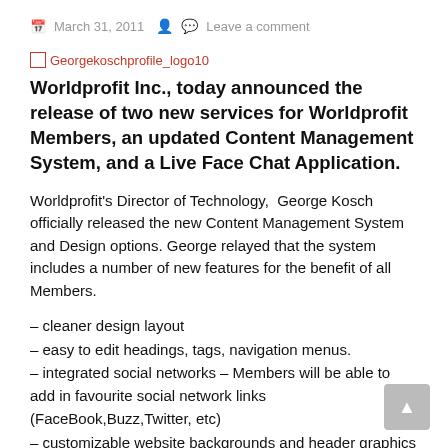March 31, 2011   Leave a comment
[Figure (logo): Broken image placeholder link labeled 'Georgekoschprofile_logo10']
Worldprofit Inc., today announced the release of two new services for Worldprofit Members, an updated Content Management System, and a Live Face Chat Application.
Worldprofit's Director of Technology,  George Kosch officially released the new Content Management System and Design options. George relayed that the system includes a number of new features for the benefit of all Members.
– cleaner design layout
– easy to edit headings, tags, navigation menus.
– integrated social networks – Members will be able to add in favourite social network links (FaceBook,Buzz,Twitter, etc)
– customizable website backgrounds and header graphics or just colour headings